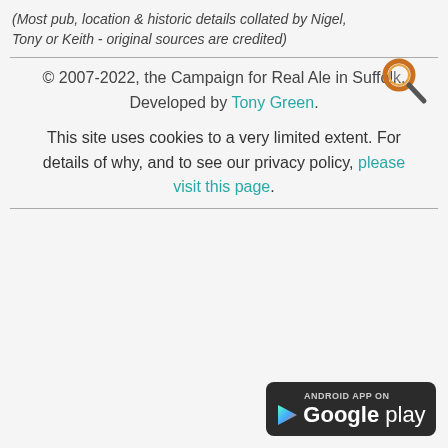(Most pub, location & historic details collated by Nigel, Tony or Keith - original sources are credited)
[Figure (illustration): Magnifying glass / search icon in orange and grey]
© 2007-2022, the Campaign for Real Ale in Suffolk. Developed by Tony Green.
This site uses cookies to a very limited extent. For details of why, and to see our privacy policy, please visit this page.
[Figure (logo): Google Play badge — Android App On Google Play]